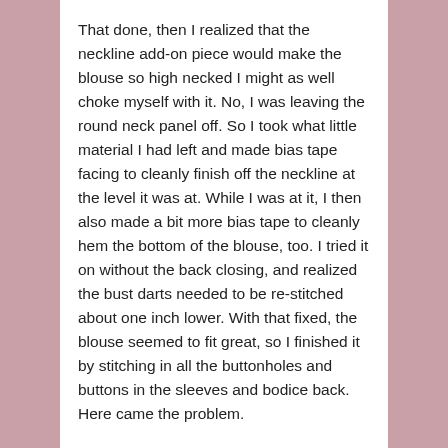That done, then I realized that the neckline add-on piece would make the blouse so high necked I might as well choke myself with it.  No, I was leaving the round neck panel off. So I took what little material I had left and made bias tape facing to cleanly finish off the neckline at the level it was at.  While I was at it, I then also made a bit more bias tape to cleanly hem the bottom of the blouse, too.  I tried it on without the back closing, and realized the bust darts needed to be re-stitched about one inch lower.  With that fixed, the blouse seemed to fit great, so I finished it by stitching in all the buttonholes and buttons in the sleeves and bodice back.  Here came the problem.
The blouse was not all that small of a fit in itself if I just stood with my arms to the side, but add in the back buttons and that was a difficulty.  I found it almost impossible to button the blouse closed on myself, with not enough extra ease room.  Once I did finally do that feat, I saw that when I reached out, the stress on the buttons was making me scared the delicate fabric might possibly